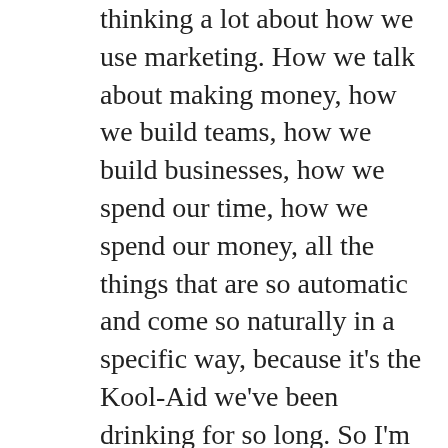thinking a lot about how we use marketing. How we talk about making money, how we build teams, how we build businesses, how we spend our time, how we spend our money, all the things that are so automatic and come so naturally in a specific way, because it's the Kool-Aid we've been drinking for so long. So I'm trying to challenge myself on that and this conversation about freedom, the question, have you really been able to create freedom for yourself in your business yet? Challenged me. So we had this conversation that unfolded inside the launch lounge.
And I want to invite you in to have a listen, to kind of be a fly on the wall to a semi-private conversation. It is a private conversation whenever we come together in the launch